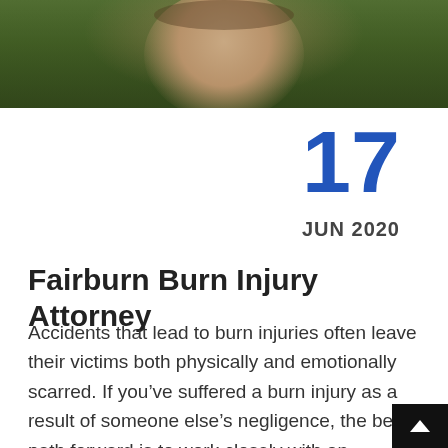[Figure (photo): Partial photo of a smiling person outdoors with green grass/foliage background, cropped to show upper face and shoulders]
17
JUN 2020
Fairburn Burn Injury Attorney
Accidents that lead to burn injuries often leave their victims both physically and emotionally scarred. If you've suffered a burn injury as a result of someone else's negligence, the best path forward is to work closely with an experienced burn injury lawyer in Fairburn.